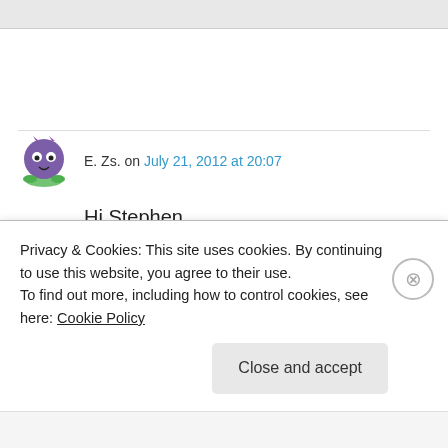E. Zs. on July 21, 2012 at 20:07
Hi Stephen,
I've found a watch at my grandma's. I asked her, but she doesn't knows when she has brought it. It's an automatic ladies watch, 21 jewels
Privacy & Cookies: This site uses cookies. By continuing to use this website, you agree to their use.
To find out more, including how to control cookies, see here: Cookie Policy
Close and accept